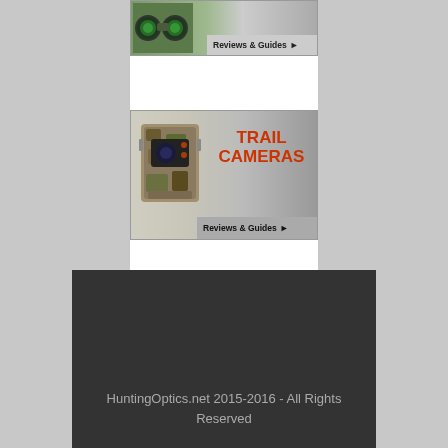[Figure (screenshot): Binoculars product banner with 'Reviews & Guides' button, partially visible at top of page]
[Figure (screenshot): Trail Cameras product banner showing a camouflage trail camera with bold red 'TRAIL CAMERAS' text and 'Reviews & Guides' button]
HuntingOptics.net 2015-2016 - All Rights Reserved